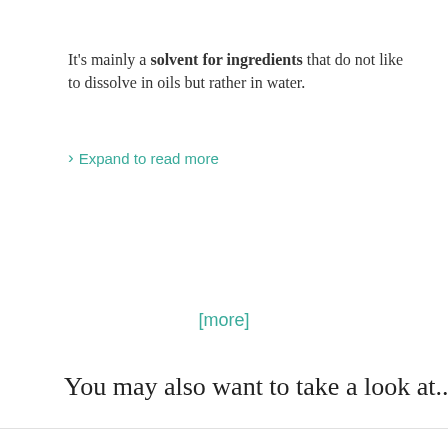It’s mainly a solvent for ingredients that do not like to dissolve in oils but rather in water.
› Expand to read more
[more]
You may also want to take a look at...
[Figure (other): Product card: Antioxidant Repair Cream by DR. SHETH’S]
[Figure (other): Product card: Antioxidant Lip Balm by THE ORGANIC PHARMACY]
[Figure (other): Partial product card: Unicorn ... (partially visible)]